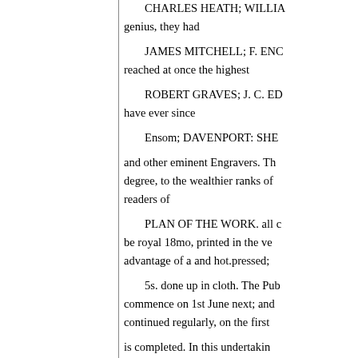CHARLES HEATH; WILLIA... genius, they had
JAMES MITCHELL; F. ENC... reached at once the highest
ROBERT GRAVES; J. C. ED... have ever since
Ensom; DAVENPORT: SHE...
and other eminent Engravers. Th... degree, to the wealthier ranks o... readers of
PLAN OF THE WORK. all c... be royal 18mo, printed in the ve... advantage of a and hot.pressed;
5s. done up in cloth. The Pub... commence on 1st June next; an... continued regularly, on the first
is completed. In this undertalkin... Frontispiece and Vignette titleth...
both containing subjects illustra... a new Introduc- they are attache...
IV. The Work will be comple...